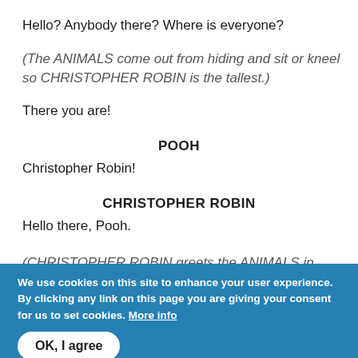Hello? Anybody there? Where is everyone?
(The ANIMALS come out from hiding and sit or kneel so CHRISTOPHER ROBIN is the tallest.)
There you are!
POOH
Christopher Robin!
CHRISTOPHER ROBIN
Hello there, Pooh.
(CHRISTOPHER ROBIN greets the ANIMALS in turn.)
We use cookies on this site to enhance your user experience. By clicking any link on this page you are giving your consent for us to set cookies. More info
OK, I agree